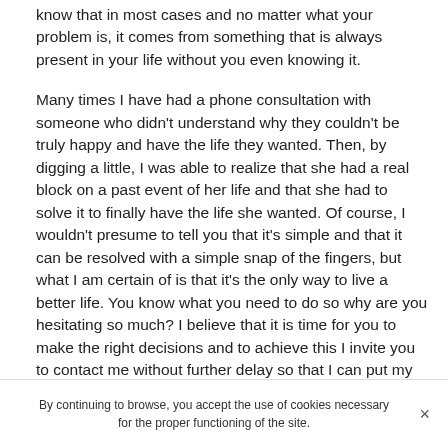know that in most cases and no matter what your problem is, it comes from something that is always present in your life without you even knowing it.
Many times I have had a phone consultation with someone who didn't understand why they couldn't be truly happy and have the life they wanted. Then, by digging a little, I was able to realize that she had a real block on a past event of her life and that she had to solve it to finally have the life she wanted. Of course, I wouldn't presume to tell you that it's simple and that it can be resolved with a simple snap of the fingers, but what I am certain of is that it's the only way to live a better life. You know what you need to do so why are you hesitating so much? I believe that it is time for you to make the right decisions and to achieve this I invite you to contact me without further delay so that I can put my gifts of psychic in Bay City at your
By continuing to browse, you accept the use of cookies necessary for the proper functioning of the site.